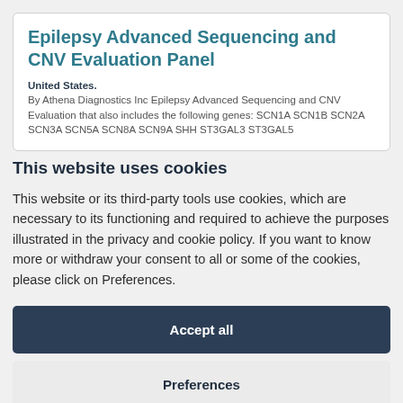Epilepsy Advanced Sequencing and CNV Evaluation Panel
United States.
By Athena Diagnostics Inc Epilepsy Advanced Sequencing and CNV Evaluation that also includes the following genes: SCN1A SCN1B SCN2A SCN3A SCN5A SCN8A SCN9A SHH ST3GAL3 ST3GAL5
This website uses cookies
This website or its third-party tools use cookies, which are necessary to its functioning and required to achieve the purposes illustrated in the privacy and cookie policy. If you want to know more or withdraw your consent to all or some of the cookies, please click on Preferences.
Accept all
Preferences